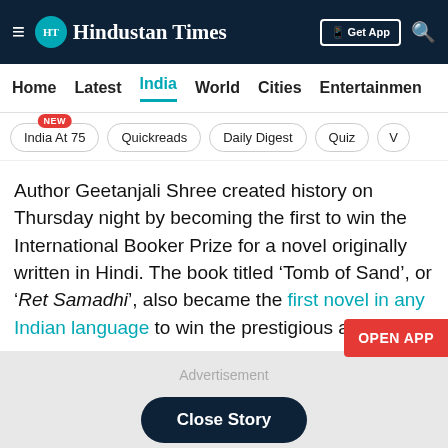HT Hindustan Times — Get App
Home | Latest | India | World | Cities | Entertainment
India At 75 NEW | Quickreads | Daily Digest | Quiz | V
Author Geetanjali Shree created history on Thursday night by becoming the first to win the International Booker Prize for a novel originally written in Hindi. The book titled ‘Tomb of Sand’, or ‘Ret Samadhi’, also became the first novel in any Indian language to win the prestigious award.
Advertisement
Close Story